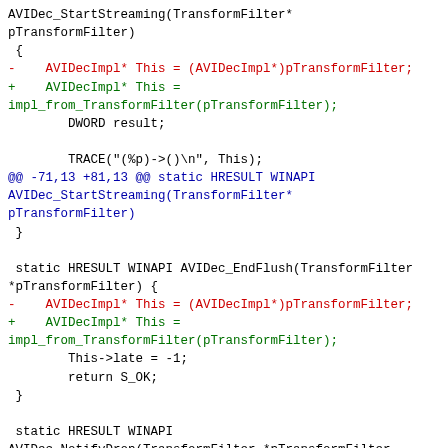AVIDec_StartStreaming(TransformFilter* pTransformFilter)
 {
-    AVIDecImpl* This = (AVIDecImpl*)pTransformFilter;
+    AVIDecImpl* This =
impl_from_TransformFilter(pTransformFilter);
        DWORD result;

        TRACE("(%p)->()
", This);
@@ -71,13 +81,13 @@ static HRESULT WINAPI AVIDec_StartStreaming(TransformFilter* pTransformFilter)
 }

 static HRESULT WINAPI AVIDec_EndFlush(TransformFilter *pTransformFilter) {
-    AVIDecImpl* This = (AVIDecImpl*)pTransformFilter;
+    AVIDecImpl* This =
impl_from_TransformFilter(pTransformFilter);
        This->late = -1;
        return S_OK;
 }

 static HRESULT WINAPI
AVIDec_NotifyDrop(TransformFilter *pTransformFilter, IBaseFilter *sender, Quality qm) {
-    AVIDecImpl *This = (AVIDecImpl*)pTransformFilter;
+    AVIDecImpl *This =
impl_from_TransformFilter(pTransformFilter);